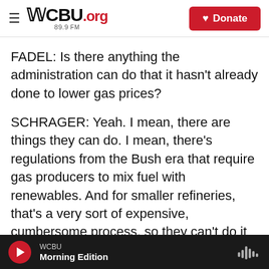WCBU.org 89.9 FM | Donate
FADEL: Is there anything the administration can do that it hasn't already done to lower gas prices?
SCHRAGER: Yeah. I mean, there are things they can do. I mean, there's regulations from the Bush era that require gas producers to mix fuel with renewables. And for smaller refineries, that's a very sort of expensive, cumbersome process, so they can't do it or they have to buy credits. And this really increases their costs. So sort of a pause in that regulation could help. That's controversial, right? The ethanol producers don't like that. I mean,
WCBU — Morning Edition